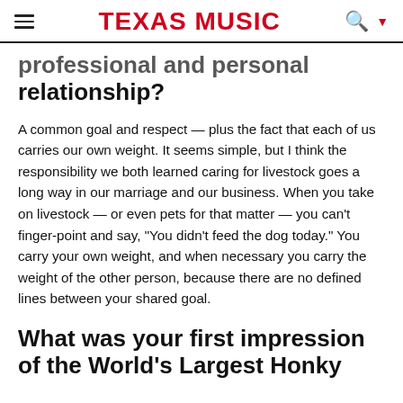TEXAS MUSIC
professional and personal relationship?
A common goal and respect — plus the fact that each of us carries our own weight. It seems simple, but I think the responsibility we both learned caring for livestock goes a long way in our marriage and our business. When you take on livestock — or even pets for that matter — you can't finger-point and say, "You didn't feed the dog today." You carry your own weight, and when necessary you carry the weight of the other person, because there are no defined lines between your shared goal.
What was your first impression of the World's Largest Honky